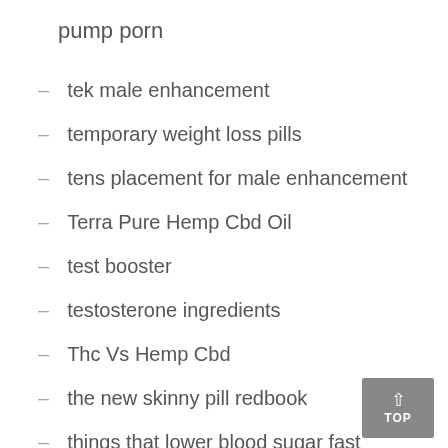pump porn
tek male enhancement
temporary weight loss pills
tens placement for male enhancement
Terra Pure Hemp Cbd Oil
test booster
testosterone ingredients
Thc Vs Hemp Cbd
the new skinny pill redbook
things that lower blood sugar fast